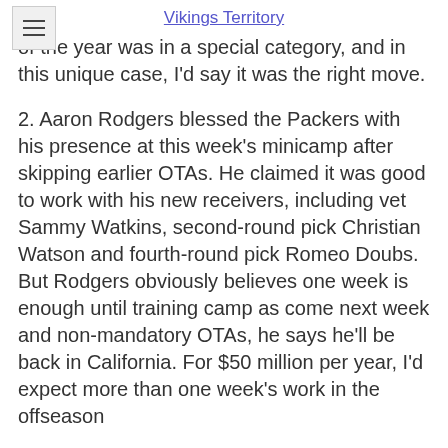Vikings Territory
of the year was in a special category, and in this unique case, I'd say it was the right move.
2. Aaron Rodgers blessed the Packers with his presence at this week's minicamp after skipping earlier OTAs. He claimed it was good to work with his new receivers, including vet Sammy Watkins, second-round pick Christian Watson and fourth-round pick Romeo Doubs. But Rodgers obviously believes one week is enough until training camp as come next week and non-mandatory OTAs, he says he'll be back in California. For $50 million per year, I'd expect more than one week's work in the offseason